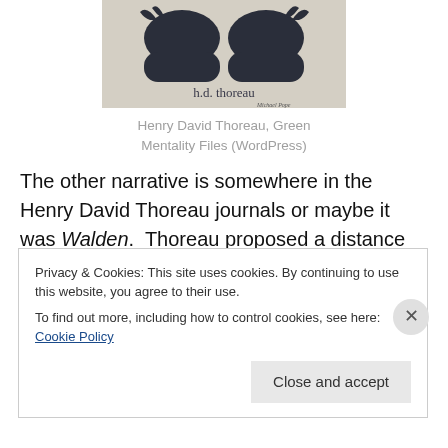[Figure (photo): Photo of a fabric or t-shirt design featuring two moose silhouettes and text 'h.d. thoreau' with a signature below]
Henry David Thoreau, Green Mentality Files (WordPress)
The other narrative is somewhere in the Henry David Thoreau journals or maybe it was Walden. Thoreau proposed a distance race and a puzzle to his readers. Thoreau wrote that he could walk across Massachusetts
Privacy & Cookies: This site uses cookies. By continuing to use this website, you agree to their use.
To find out more, including how to control cookies, see here: Cookie Policy
Close and accept